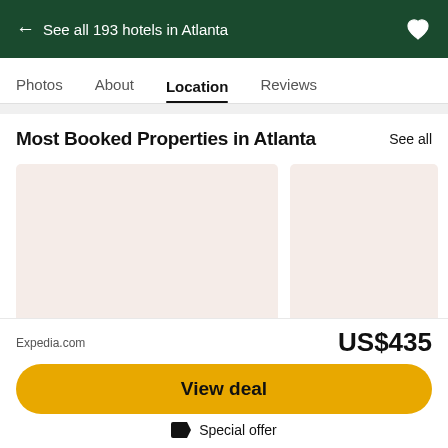← See all 193 hotels in Atlanta
Photos  About  Location  Reviews
Most Booked Properties in Atlanta
See all
[Figure (photo): Two property image placeholders side by side, loading skeleton cards with light pinkish-beige background]
Expedia.com
US$435
View deal
Special offer